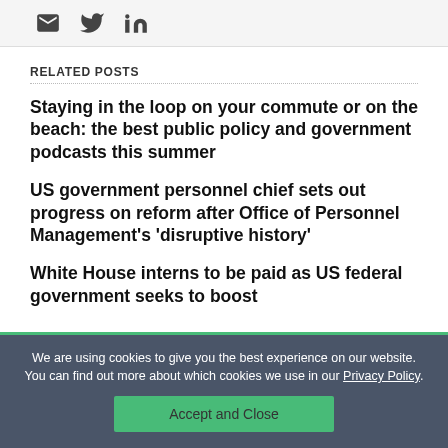[Figure (infographic): Social share icons: email, Twitter, LinkedIn]
RELATED POSTS
Staying in the loop on your commute or on the beach: the best public policy and government podcasts this summer
US government personnel chief sets out progress on reform after Office of Personnel Management's 'disruptive history'
White House interns to be paid as US federal government seeks to boost
We are using cookies to give you the best experience on our website. You can find out more about which cookies we use in our Privacy Policy.
Accept and Close